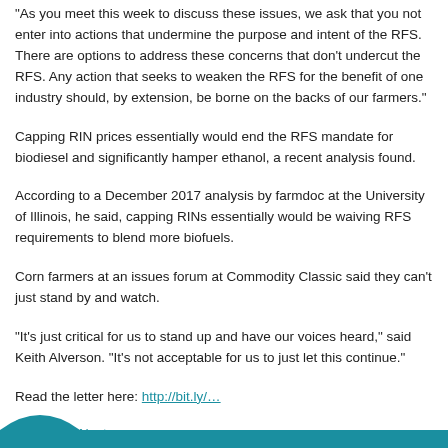“As you meet this week to discuss these issues, we ask that you not enter into actions that undermine the purpose and intent of the RFS. There are options to address these concerns that don’t undercut the RFS. Any action that seeks to weaken the RFS for the benefit of one industry should, by extension, be borne on the backs of our farmers.”
Capping RIN prices essentially would end the RFS mandate for biodiesel and significantly hamper ethanol, a recent analysis found.
According to a December 2017 analysis by farmdoc at the University of Illinois, he said, capping RINs essentially would be waiving RFS requirements to blend more biofuels.
Corn farmers at an issues forum at Commodity Classic said they can’t just stand by and watch.
“It’s just critical for us to stand up and have our voices heard,” said Keith Alverson. “It’s not acceptable for us to just let this continue.”
Read the letter here: http://bit.ly/…
Previous | Next